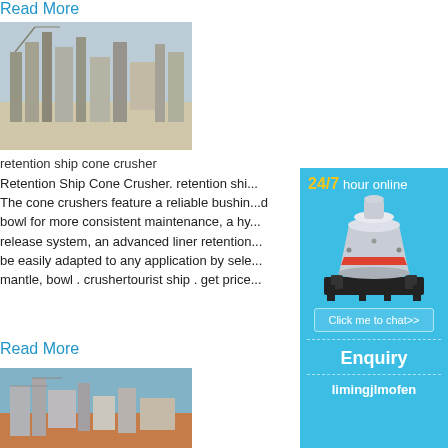Read More
[Figure (photo): Aerial view of an industrial cement plant with tall silos and towers in a desert setting]
retention ship cone crusher
Retention Ship Cone Crusher. retention shi... The cone crushers feature a reliable bushin...d bowl for more consistent maintenance, a hy... release system, an advanced liner retention... be easily adapted to any application by sele... mantle, bowl . crushertourist ship . get price...
Read More
[Figure (photo): Industrial mining or crushing plant with equipment and red earthen ground]
[Figure (infographic): Sidebar with 24/7 hour online label in yellow/white, cone crusher machine image, Click me to chat>> button, Enquiry section, and limingjlmofen username]
24/7 hour online
Click me to chat>>
Enquiry
limingjlmofen